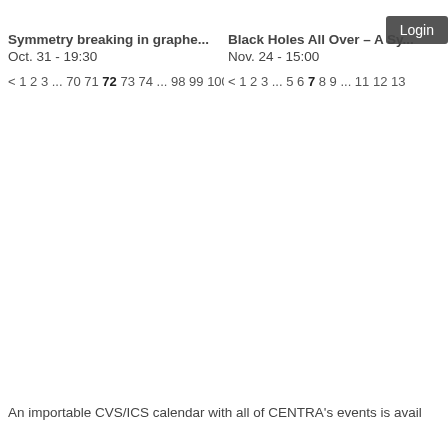Login
Symmetry breaking in graphe...
Oct. 31 - 19:30
< 1 2 3 ... 70 71 72 73 74 ... 98 99 100 >
Black Holes All Over – A Sy...
Nov. 24 - 15:00
< 1 2 3 ... 5 6 7 8 9 ... 11 12 13
An importable CVS/ICS calendar with all of CENTRA's events is avail